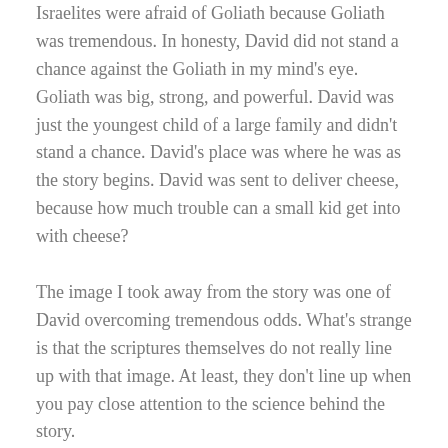Israelites were afraid of Goliath because Goliath was tremendous. In honesty, David did not stand a chance against the Goliath in my mind's eye. Goliath was big, strong, and powerful. David was just the youngest child of a large family and didn't stand a chance. David's place was where he was as the story begins. David was sent to deliver cheese, because how much trouble can a small kid get into with cheese?
The image I took away from the story was one of David overcoming tremendous odds. What's strange is that the scriptures themselves do not really line up with that image. At least, they don't line up when you pay close attention to the science behind the story.
The tallest man alive, according to the Guinness Book of World Records is Sultan Kösen (K-ay-sen). He was,